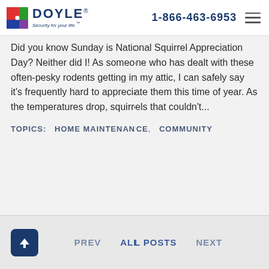Doyle Security | 1-866-463-6953
Did you know Sunday is National Squirrel Appreciation Day? Neither did I! As someone who has dealt with these often-pesky rodents getting in my attic, I can safely say it's frequently hard to appreciate them this time of year. As the temperatures drop, squirrels that couldn't...
TOPICS:   HOME MAINTENANCE,   COMMUNITY
PREV   ALL POSTS   NEXT